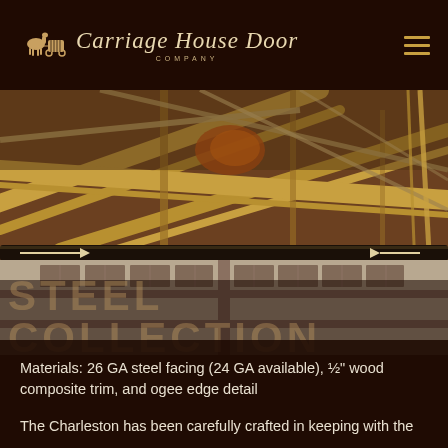Carriage House Door Company
[Figure (photo): Interior view of a carriage house/barn with steel and wood roof structure visible, and a large white carriage-style garage door with windows being installed, seen from inside with mechanical hardware visible]
STEEL COLLECTION
Materials: 26 GA steel facing (24 GA available), ½" wood composite trim, and ogee edge detail
The Charleston has been carefully crafted in keeping with the